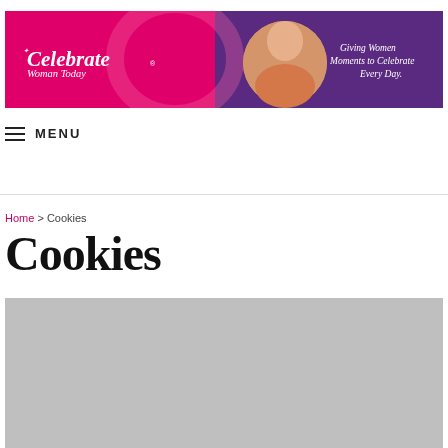[Figure (illustration): Celebrate Woman Today website banner with pink and purple background, woman photo, and tagline 'Giving Women Moments to Celebrate Every Day.']
MENU
Home > Cookies
Cookies
[Figure (photo): Gray placeholder image below the Cookies title]